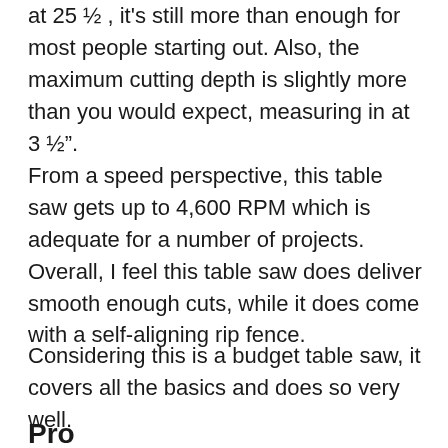at 25 ½ , it's still more than enough for most people starting out. Also, the maximum cutting depth is slightly more than you would expect, measuring in at 3 ½".
From a speed perspective, this table saw gets up to 4,600 RPM which is adequate for a number of projects. Overall, I feel this table saw does deliver smooth enough cuts, while it does come with a self-aligning rip fence.
Considering this is a budget table saw, it covers all the basics and does so very well.
Pro...